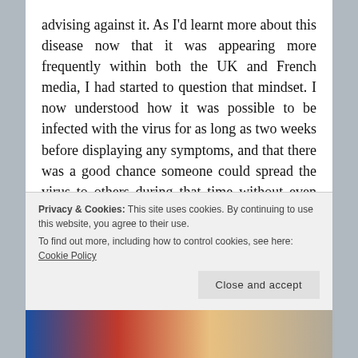advising against it. As I'd learnt more about this disease now that it was appearing more frequently within both the UK and French media, I had started to question that mindset. I now understood how it was possible to be infected with the virus for as long as two weeks before displaying any symptoms, and that there was a good chance someone could spread the virus to others during that time without even realising they were infected. Understanding this made me start to think less about whether it would be possible to cycle through Italy, and more so if it would be possible to do so.
Privacy & Cookies: This site uses cookies. By continuing to use this website, you agree to their use.
To find out more, including how to control cookies, see here: Cookie Policy
[Figure (photo): A partial image strip at the bottom showing what appears to be cycling-related photos with red, blue and beige tones]